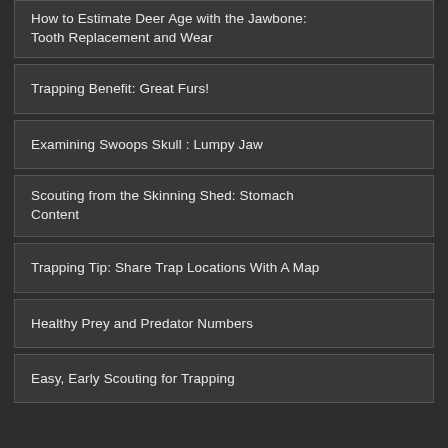How to Estimate Deer Age with the Jawbone: Tooth Replacement and Wear
Trapping Benefit: Great Furs!
Examining Swoops Skull : Lumpy Jaw
Scouting from the Skinning Shed: Stomach Content
Trapping Tip: Share Trap Locations With A Map
Healthy Prey and Predator Numbers
Easy, Early Scouting for Trapping